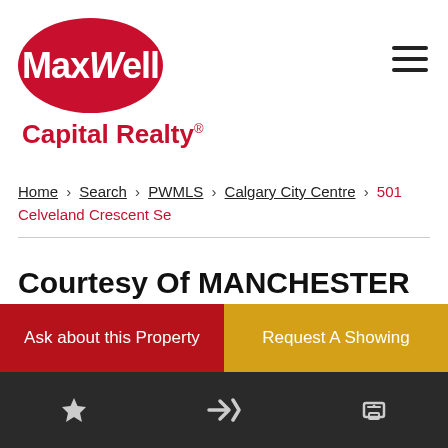[Figure (logo): MaxWell Capital Realty logo — red oval with white MaxWell text and red Capital Realty text below]
Home > Search > PWMLS > Calgary City Centre > 501 Celveland Crescent Se
Courtesy Of MANCHESTER PROPERTIES INC.
Ask about this Property
Request A Showing